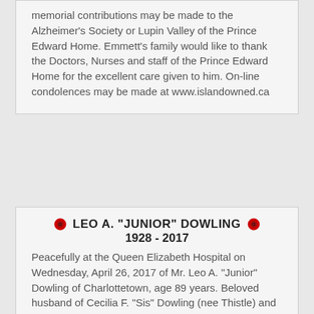memorial contributions may be made to the Alzheimer's Society or Lupin Valley of the Prince Edward Home. Emmett's family would like to thank the Doctors, Nurses and staff of the Prince Edward Home for the excellent care given to him. On-line condolences may be made at www.islandowned.ca
LEO A. "JUNIOR" DOWLING 1928 - 2017
Peacefully at the Queen Elizabeth Hospital on Wednesday, April 26, 2017 of Mr. Leo A. "Junior" Dowling of Charlottetown, age 89 years. Beloved husband of Cecilia F. "Sis" Dowling (nee Thistle) and dear father of Anne Marie (Alan) Molyneaux, Denise (Don)